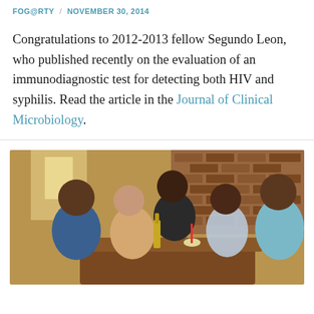FOG@RTY / NOVEMBER 30, 2014
Congratulations to 2012-2013 fellow Segundo Leon, who published recently on the evaluation of an immunodiagnostic test for detecting both HIV and syphilis. Read the article in the Journal of Clinical Microbiology.
[Figure (photo): Five people seated around a table in a restaurant setting with brick wall background, smiling at camera.]